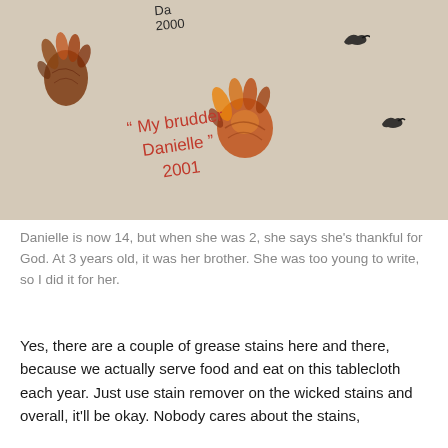[Figure (photo): Close-up photo of a tablecloth with children's handprint art in fall colors (brown, orange, red). Red handwritten child text reads: 'My brudder Danielle 2001'. Black text at top reads 'Da 2000'. Small bird stamps visible in corners.]
Danielle is now 14, but when she was 2, she says she's thankful for God. At 3 years old, it was her brother. She was too young to write, so I did it for her.
Yes, there are a couple of grease stains here and there, because we actually serve food and eat on this tablecloth each year. Just use stain remover on the wicked stains and overall, it'll be okay. Nobody cares about the stains,